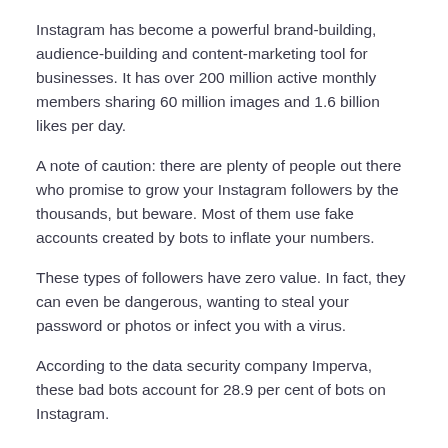Instagram has become a powerful brand-building, audience-building and content-marketing tool for businesses. It has over 200 million active monthly members sharing 60 million images and 1.6 billion likes per day.
A note of caution: there are plenty of people out there who promise to grow your Instagram followers by the thousands, but beware. Most of them use fake accounts created by bots to inflate your numbers.
These types of followers have zero value. In fact, they can even be dangerous, wanting to steal your password or photos or infect you with a virus.
According to the data security company Imperva, these bad bots account for 28.9 per cent of bots on Instagram.
The best way to build your Instagram followers is by being authentic to your brand and your audience.
Here are 3 tips to help you get real Instagram followers:
1. Tell a Story with Hashtags
It's great to use your business name as a hashtag, but you need to think beyond that.